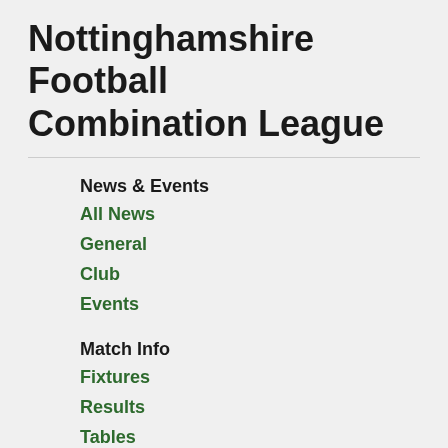Nottinghamshire Football Combination League
News & Events
All News
General
Club
Events
Match Info
Fixtures
Results
Tables
Goal Scorers
Results Grid
Cups
Match Officials